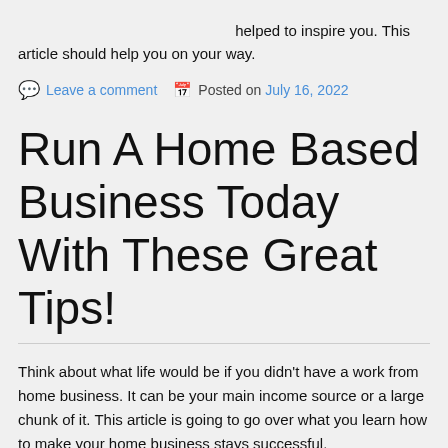helped to inspire you. This article should help you on your way.
Leave a comment  Posted on July 16, 2022
Run A Home Based Business Today With These Great Tips!
Think about what life would be if you didn't have a work from home business. It can be your main income source or a large chunk of it. This article is going to go over what you learn how to make your home business stays successful.
It is essential to know the cost of production for any